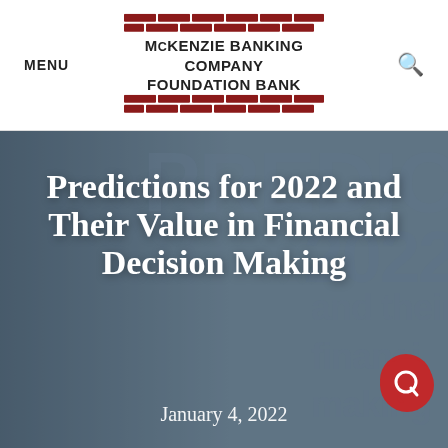MENU  McKenzie Banking Company Foundation Bank  [search]
[Figure (logo): McKenzie Banking Company Foundation Bank logo with red brick decorative rows above and below the text]
Predictions for 2022 and Their Value in Financial Decision Making
January 4, 2022
[Figure (photo): Hero banner image with a person in background, large watermark text reading PREDI and 2022 and their financial making, dark blue-grey overlay]